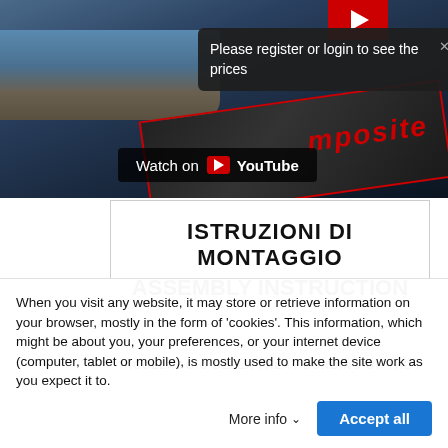[Figure (screenshot): YouTube video thumbnail showing a SUP/paddleboard on water with rocky shoreline, red YouTube play button area in top right, and 'Watch on YouTube' bar overlay]
Please register or login to see the prices
ISTRUZIONI DI MONTAGGIO
ASSEMBLY INSTRUCTION
INCOLLAGGIO DELLA PALA / BONDING OF THE FIN
When you visit any website, it may store or retrieve information on your browser, mostly in the form of 'cookies'. This information, which might be about you, your preferences, or your internet device (computer, tablet or mobile), is mostly used to make the site work as you expect it to.
More info
Accept all